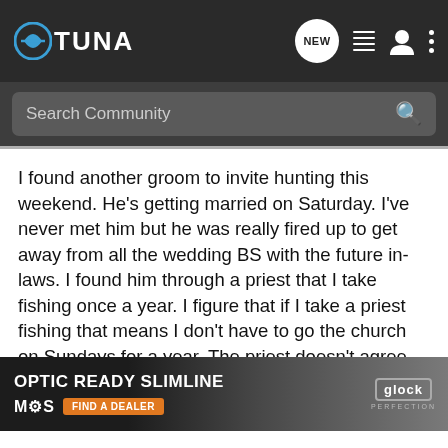360TUNA — NEW | list | user | more
Search Community
I found another groom to invite hunting this weekend. He's getting married on Saturday. I've never met him but he was really fired up to get away from all the wedding BS with the future in-laws. I found him through a priest that I take fishing once a year. I figure that if I take a priest fishing that means I don't have to go the church on Sundays for a year. The priest doesn't agree with my thinking, but he still comes every year for his fishing fix.
This poor guy has no idea what is in store for him. I'm picking him up Wednesday after work. He wants to be back in town by Noon on Friday to get ready for the rehearsal dinner. I hope he has a se... rehearsal if he's a... ve
[Figure (screenshot): Advertisement for Glock Optic Ready Slimline with MOS technology. Shows 'OPTIC READY SLIMLINE' in white bold text, MOS logo, orange 'FIND A DEALER' button, Glock logo with 'PERFECTION' text, and a gun image in the background.]